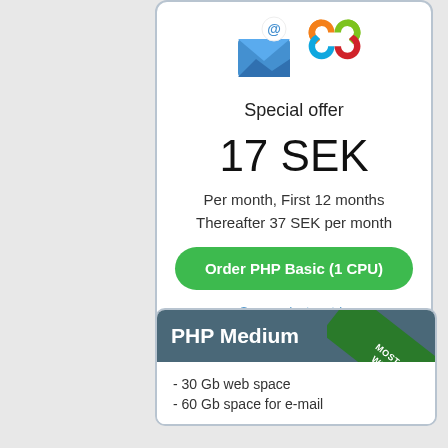[Figure (illustration): Two icons: an email/letter icon and a Joomla CMS logo icon]
Special offer
17 SEK
Per month, First 12 months
Thereafter 37 SEK per month
Order PHP Basic (1 CPU)
See product matrix
PHP Medium
MOST POPULAR WEB HOSTING
- 30 Gb web space
- 60 Gb space for e-mail